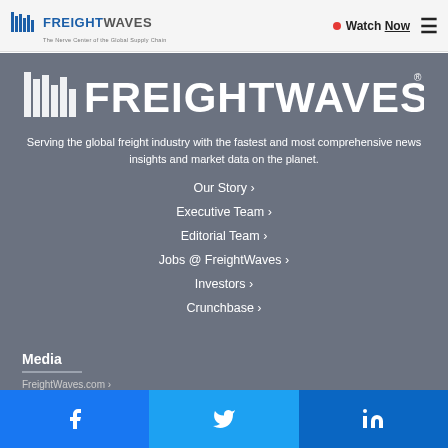FREIGHTWAVES - The Nerve Center of the Global Supply Chain | Watch Now
[Figure (logo): FreightWaves large white logo on dark gray background]
Serving the global freight industry with the fastest and most comprehensive news insights and market data on the planet.
Our Story ›
Executive Team ›
Editorial Team ›
Jobs @ FreightWaves ›
Investors ›
Crunchbase ›
Media
FreightWaves.com ›
Facebook | Twitter | LinkedIn